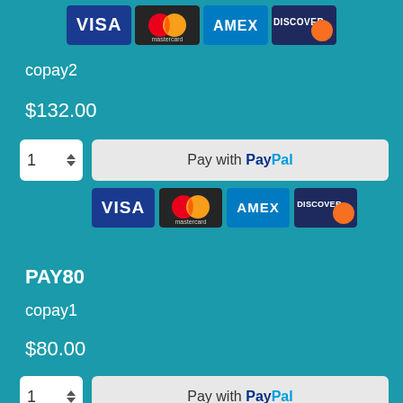[Figure (logo): Credit card logos at top: VISA, Mastercard, AMEX, DISCOVER]
copay2
$132.00
[Figure (other): Quantity spinner showing 1 and Pay with PayPal button with credit card logos (VISA, Mastercard, AMEX, DISCOVER)]
PAY80
copay1
$80.00
[Figure (other): Quantity spinner showing 1 and partially visible Pay with PayPal button at bottom]